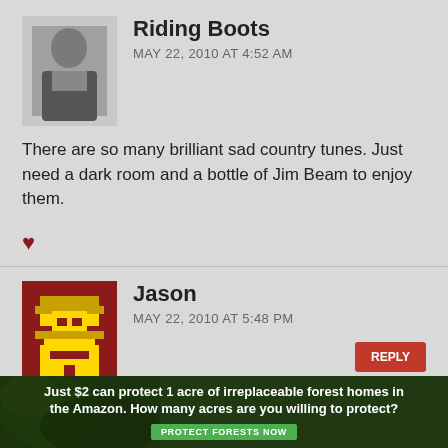Riding Boots
MAY 22, 2010 AT 4:52 AM
There are so many brilliant sad country tunes. Just need a dark room and a bottle of Jim Beam to enjoy them.
Jason
MAY 22, 2010 AT 5:48 PM
Pretty much every song Alison Krauss has ever recorded! “Jacob’s Dream” definitely comes to mind, made all the sadder by the fact that it’s based on actual events.
[Figure (infographic): Advertisement banner: Just $2 can protect 1 acre of irreplaceable forest homes in the Amazon. How many acres are you willing to protect? PROTECT FORESTS NOW button on dark green/forest background.]